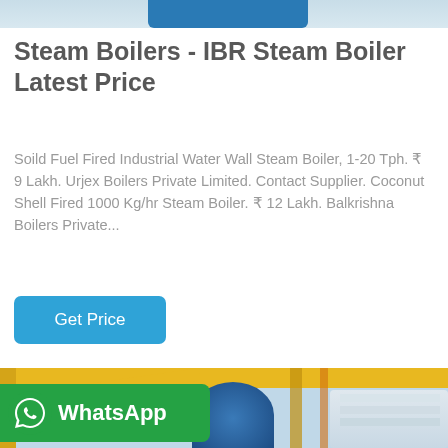[Figure (photo): Top portion of an industrial boiler/pipe installation (cropped, showing blue cylindrical structure and pipes)]
Steam Boilers - IBR Steam Boiler Latest Price
Soild Fuel Fired Industrial Water Wall Steam Boiler, 1-20 Tph. ₹ 9 Lakh. Urjex Boilers Private Limited. Contact Supplier. Coconut Shell Fired 1000 Kg/hr Steam Boiler. ₹ 12 Lakh. Balkrishna Boilers Private...
[Figure (other): Blue 'Get Price' button]
[Figure (photo): Industrial boiler facility interior with yellow pipes, blue cylindrical boiler vessel, and colorful pipework]
[Figure (other): WhatsApp button overlay with phone icon and 'WhatsApp' text on green background]